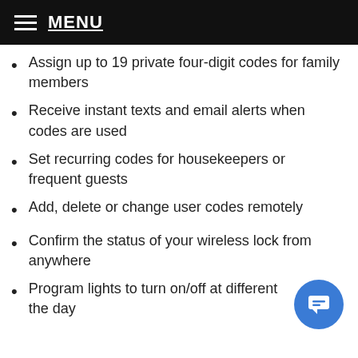MENU
Assign up to 19 private four-digit codes for family members
Receive instant texts and email alerts when codes are used
Set recurring codes for housekeepers or frequent guests
Add, delete or change user codes remotely
Confirm the status of your wireless lock from anywhere
Program lights to turn on/off at different times of the day